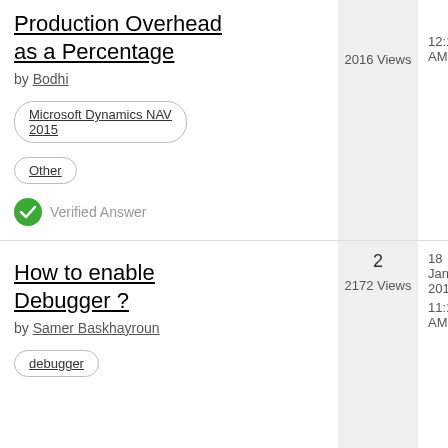How to add Production Overhead as a Percentage
by Bodhi
Microsoft Dynamics NAV 2015
Other
Verified Answer
2016 Views
12:13 AM
How to enable Debugger ?
by Samer Baskhayroun
debugger
2
2172 Views
18 Jan 2019
11:11 AM